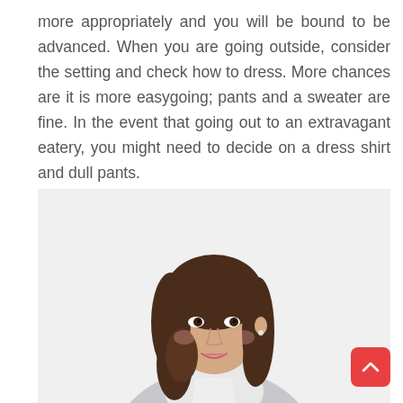more appropriately and you will be bound to be advanced. When you are going outside, consider the setting and check how to dress. More chances are it is more easygoing; pants and a sweater are fine. In the event that going out to an extravagant eatery, you might need to decide on a dress shirt and dull pants.
[Figure (photo): A smiling young woman with long dark wavy hair, wearing a grey sweater over a white collared shirt, photographed from the waist up against a light background.]